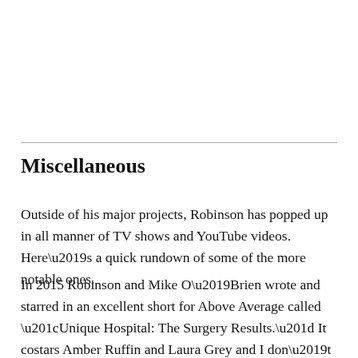Miscellaneous
Outside of his major projects, Robinson has popped up in all manner of TV shows and YouTube videos. Here’s a quick rundown of some of the more notable ones.
In 2015 Robinson and Mike O’Brien wrote and starred in an excellent short for Above Average called “Unique Hospital: The Surgery Results.” It costars Amber Ruffin and Laura Grey and I don’t want to say any more than that because you need to let this one just unfold for you on its own. It’s up